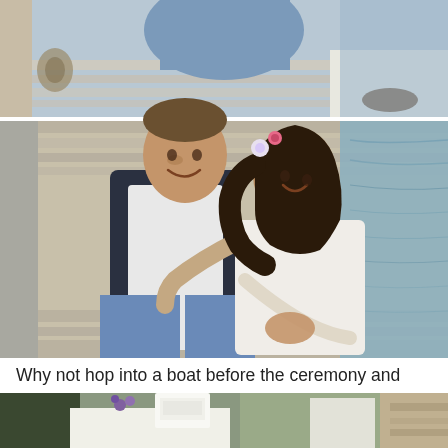[Figure (photo): Two stacked wedding photos: top strip shows an aerial view of a couple sitting in a boat on a lake, man in blue trousers and woman in white dress; main photo below shows a smiling groom in dark vest and blue pants with bride in lace dress hugging him, sitting in a rowing boat on a lake, flowers in bride's hair.]
Why not hop into a boat before the ceremony and take a ride around the lake? Love!
[Figure (photo): Partial bottom strip photo showing wedding cake and table decorations outdoors.]